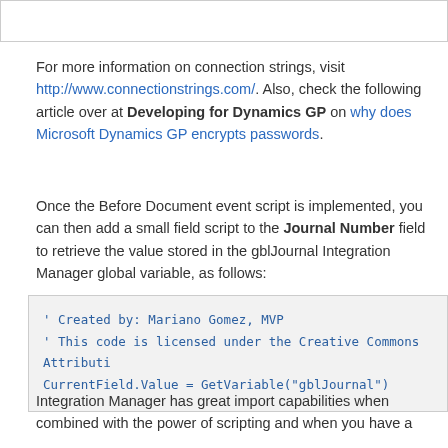[Figure (screenshot): White box element at top of page (partial content cut off from previous section)]
For more information on connection strings, visit http://www.connectionstrings.com/. Also, check the following article over at Developing for Dynamics GP on why does Microsoft Dynamics GP encrypts passwords.
Once the Before Document event script is implemented, you can then add a small field script to the Journal Number field to retrieve the value stored in the gblJournal Integration Manager global variable, as follows:
Integration Manager has great import capabilities when combined with the power of scripting and when you have a